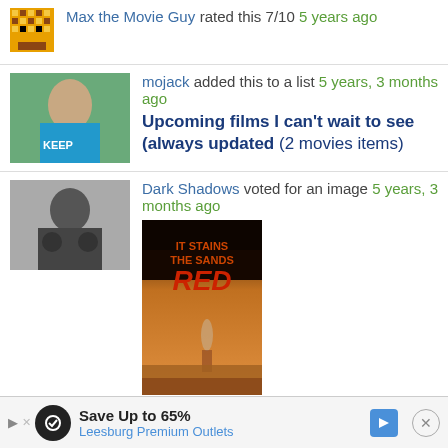Max the Movie Guy rated this 7/10 5 years ago
mojack added this to a list 5 years, 3 months ago
Upcoming films I can't wait to see (always updated (2 movies items)
Dark Shadows voted for an image 5 years, 3 months ago
[Figure (photo): Movie poster for 'It Stains the Sands Red']
Dark Shadows added this to wanted list 5 years, 3 months ago
Kandi voted for an image 5 years, 3 months ago
[Figure (photo): Partial movie poster for 'It Stains the Sands Red']
Save Up to 65% Leesburg Premium Outlets